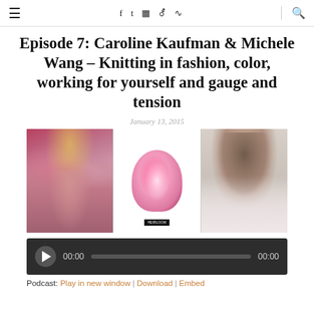≡  f  t  ☷  ✿  ))) | 🔍
Episode 7: Caroline Kaufman & Michele Wang – Knitting in fashion, color, working for yourself and gauge and tension
January 13, 2015
[Figure (photo): Three-panel image: left panel shows a woman with long red hair holding large pink paper flowers in front of a colorful floral backdrop; center panel shows a skein of bright pink yarn with an Heirloom label; right panel shows an Asian woman with dark hair against a light background.]
[Figure (other): Audio player widget with dark background showing play button, time display 00:00, progress bar, and end time 00:00]
Podcast: Play in new window | Download | Embed